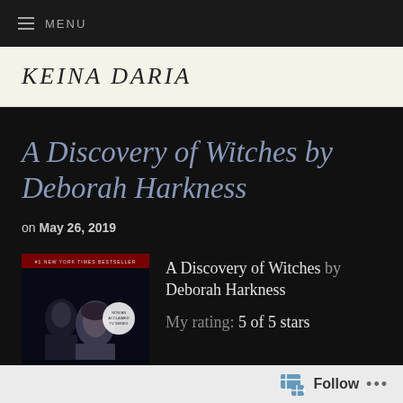MENU
KEINA DARIA
A Discovery of Witches by Deborah Harkness
on May 26, 2019
[Figure (photo): Book cover of A Discovery of Witches showing two figures against a dark background]
A Discovery of Witches by Deborah Harkness
My rating: 5 of 5 stars
Follow ...